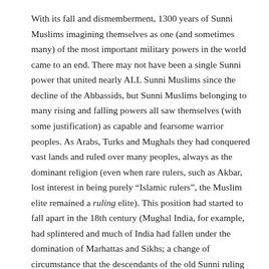With its fall and dismemberment, 1300 years of Sunni Muslims imagining themselves as one (and sometimes many) of the most important military powers in the world came to an end. There may not have been a single Sunni power that united nearly ALL Sunni Muslims since the decline of the Abbassids, but Sunni Muslims belonging to many rising and falling powers all saw themselves (with some justification) as capable and fearsome warrior peoples. As Arabs, Turks and Mughals they had conquered vast lands and ruled over many peoples, always as the dominant religion (even when rare rulers, such as Akbar, lost interest in being purely “Islamic rulers”, the Muslim elite remained a ruling elite). This position had started to fall apart in the 18th century (Mughal India, for example, had splintered and much of India had fallen under the domination of Marhattas and Sikhs; a change of circumstance that the descendants of the old Sunni ruling elite felt very acutely, and which they eventually tried to remedy in part by creating Pakistan). With the fall of the Ottomans, the true